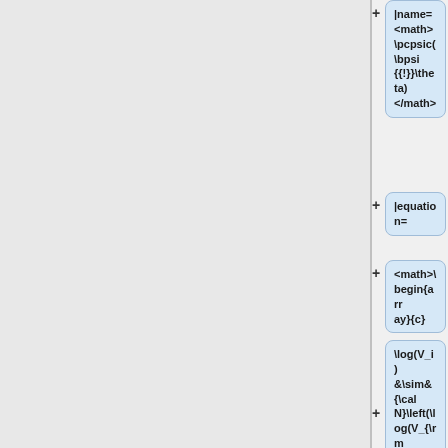|name= <math>\pcpsic(\bpsi{{!}}\theta)</math>
|equation=
<math>\begin{array}{c}
\log(V_i) &\sim& {\cal N}\left(\log(V_{\rm pop}), \, \omega_V^2\right) \\
\log(k_i) &\sim& {\cal N}\left(\log(k_{\rm pop}),\, \omega_k^2\right)